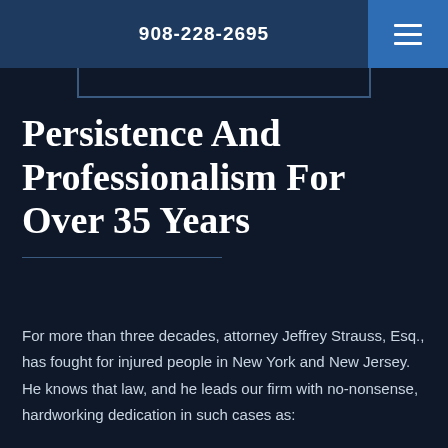908-228-2695
Persistence And Professionalism For Over 35 Years
For more than three decades, attorney Jeffrey Strauss, Esq., has fought for injured people in New York and New Jersey. He knows that law, and he leads our firm with no-nonsense, hardworking dedication in such cases as:
Medical malpractice